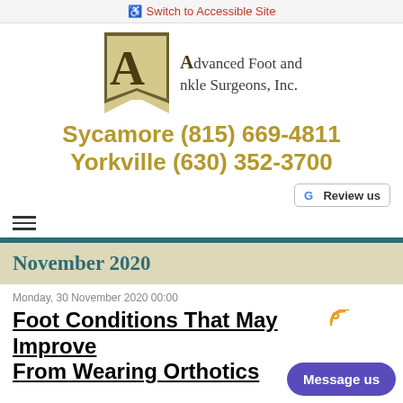Switch to Accessible Site
[Figure (logo): Advanced Foot and Ankle Surgeons, Inc. logo with stylized A on a beige banner]
Sycamore (815) 669-4811
Yorkville (630) 352-3700
Review us
November 2020
Monday, 30 November 2020 00:00
Foot Conditions That May Improve From Wearing Orthotics
Message us